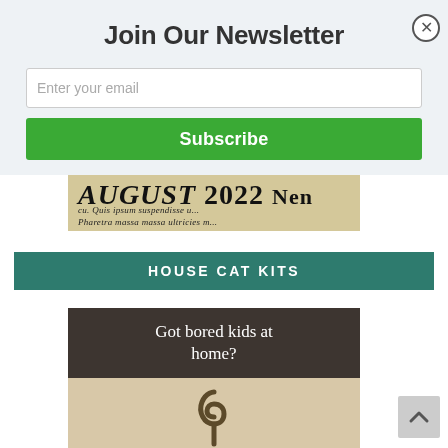Join Our Newsletter
Enter your email
Subscribe
[Figure (photo): Partial newspaper clipping showing 'AUGUST 2022' headline with italic Lorem Ipsum style text below]
HOUSE CAT KITS
[Figure (photo): Product card with dark brown top section reading 'Got bored kids at home?' and a beige bottom section showing a decorative hook illustration]